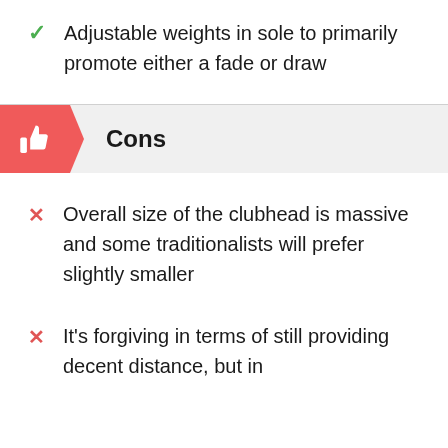Adjustable weights in sole to primarily promote either a fade or draw
Cons
Overall size of the clubhead is massive and some traditionalists will prefer slightly smaller
It's forgiving in terms of still providing decent distance, but in